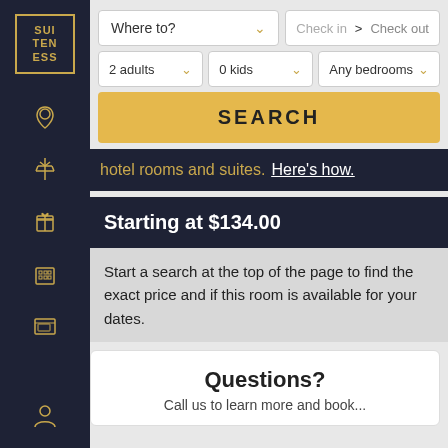[Figure (screenshot): Left sidebar with Suiteness logo and navigation icons on dark navy background]
Where to?
Check in  > Check out
2 adults
0 kids
Any bedrooms
SEARCH
hotel rooms and suites.  Here's how.
Starting at $134.00
Start a search at the top of the page to find the exact price and if this room is available for your dates.
Questions?
Call us to learn more and book...